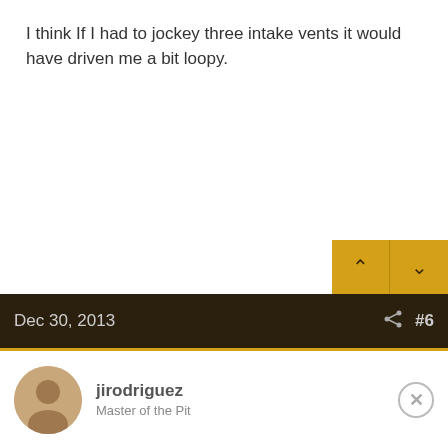I think If I had to jockey three intake vents it would have driven me a bit loopy.
Dec 30, 2013  #6
jirodriguez
Master of the Pit